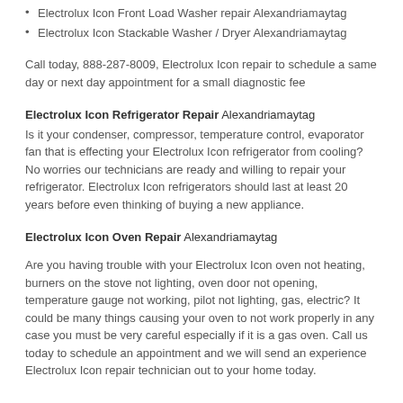Electrolux Icon Front Load Washer repair Alexandriamaytag
Electrolux Icon Stackable Washer / Dryer Alexandriamaytag
Call today, 888-287-8009, Electrolux Icon repair to schedule a same day or next day appointment for a small diagnostic fee
Electrolux Icon Refrigerator Repair Alexandriamaytag
Is it your condenser, compressor, temperature control, evaporator fan that is effecting your Electrolux Icon refrigerator from cooling? No worries our technicians are ready and willing to repair your refrigerator. Electrolux Icon refrigerators should last at least 20 years before even thinking of buying a new appliance.
Electrolux Icon Oven Repair Alexandriamaytag
Are you having trouble with your Electrolux Icon oven not heating, burners on the stove not lighting, oven door not opening, temperature gauge not working, pilot not lighting, gas, electric? It could be many things causing your oven to not work properly in any case you must be very careful especially if it is a gas oven. Call us today to schedule an appointment and we will send an experience Electrolux Icon repair technician out to your home today.